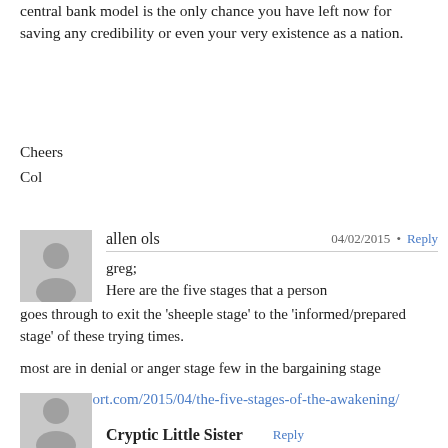central bank model is the only chance you have left now for saving any credibility or even your very existence as a nation.
Cheers
Col
allen ols
04/02/2015 • Reply
greg;
Here are the five stages that a person goes through to exit the 'sheeple stage' to the 'informed/prepared stage' of these trying times.
most are in denial or anger stage few in the bargaining stage
http://sgtreport.com/2015/04/the-five-stages-of-the-awakening/
Cryptic Little Sister  Reply